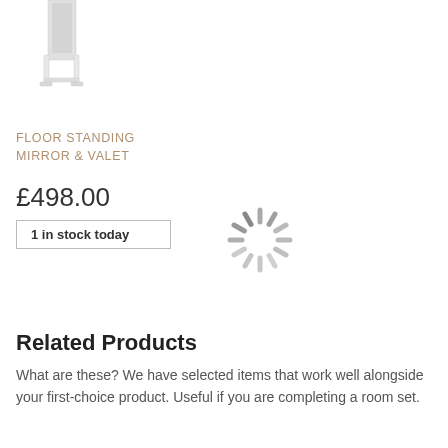[Figure (photo): Floor standing mirror and valet product image, partial view showing a tall narrow mirror with white frame and stand]
FLOOR STANDING MIRROR & VALET
£498.00
1 in stock today
[Figure (other): Loading spinner graphic — circular spokes in grey]
Related Products
What are these? We have selected items that work well alongside your first-choice product. Useful if you are completing a room set.